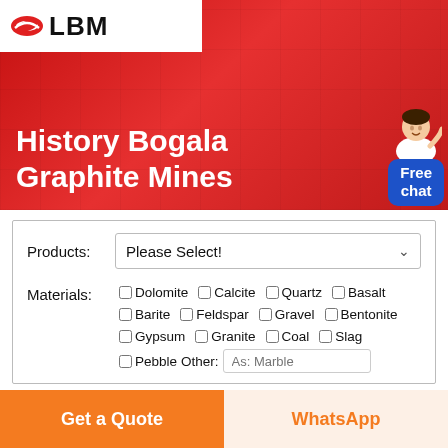[Figure (logo): LBM company logo with red swoosh icon and bold black text on white background]
History Bogala Graphite Mines
[Figure (illustration): Blue chat button with customer service avatar and Free chat label]
Products: Please Select! (dropdown)
Materials: Dolomite, Calcite, Quartz, Basalt, Barite, Feldspar, Gravel, Bentonite, Gypsum, Granite, Coal, Slag, Pebble Other: As: Marble
Get a Quote
WhatsApp